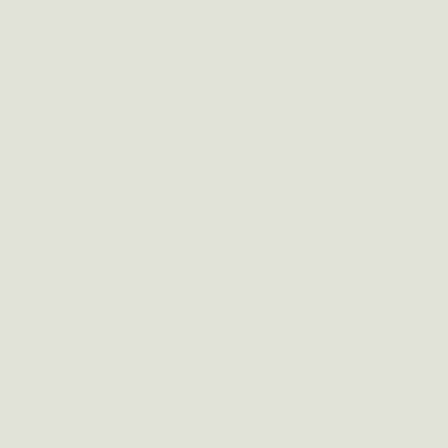Maintainer: Martin A. Godisch
GNU Go is a free program that plays the game of Go. It has a text-only user interface, have a look at another package if you want to play on a graphical board. Go is an ancient game originated from China, with a history of over 3000 years, although there is evidence that the game was invented more than 4000 years ago. Chinese call the game Weiqi, other names are Baduk (Korean), Igo (Japanese), and Goe (Taiwanese). In this game, each player tries to enclose more territory than her opponent, using threats, ladders, and isolation. It is, therefore, a symbolic game about relationships between nations. Go is getting popular around the world, especially in Asian, European countries, with many worldwide competitions. The game of Go is played on a board. The intersections of the board, together with 181 black and 180 white pieces. A standard board has 19 lines by 19 lines, but smaller boards can also be used. However, the smaller boards are usually for beginners; more advanced players use the traditional 19x19 board. Compared to International Chess and Go, Go has far fewer rules. Yet this allowed for almost any move played, so Go can be a more intellectually complex game than the other two types of Chess. Not only is it a difficult game to learn, so have a fun time playing it with your friends. (adopted from http://senseis.xmp.net/?W
Gnuminishogi